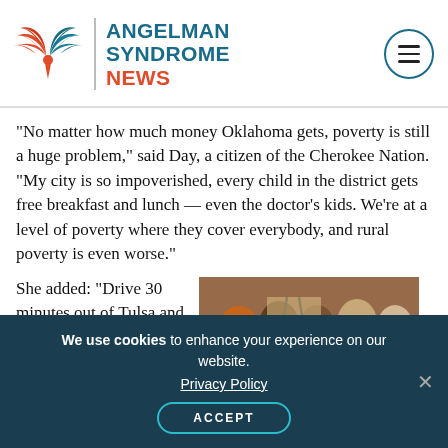Angelman Syndrome News
“No matter how much money Oklahoma gets, poverty is still a huge problem,” said Day, a citizen of the Cherokee Nation. “My city is so impoverished, every child in the district gets free breakfast and lunch — even the doctor’s kids. We’re at a level of poverty where they cover everybody, and rural poverty is even worse.”
She added: “Drive 30 minutes out of Tulsa and
[Figure (photo): Group of women in orange shirts looking at something on an easel or board]
We use cookies to enhance your experience on our website.
Privacy Policy
ACCEPT